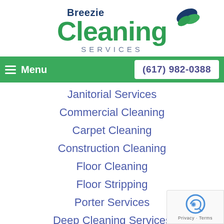[Figure (logo): Breezie Cleaning Services logo with green leaf icon and dark blue/green text]
Menu  (617) 982-0388
Janitorial Services
Commercial Cleaning
Carpet Cleaning
Construction Cleaning
Floor Cleaning
Floor Stripping
Porter Services
Deep Cleaning Services
Retail Cleaning
Green Cleaning